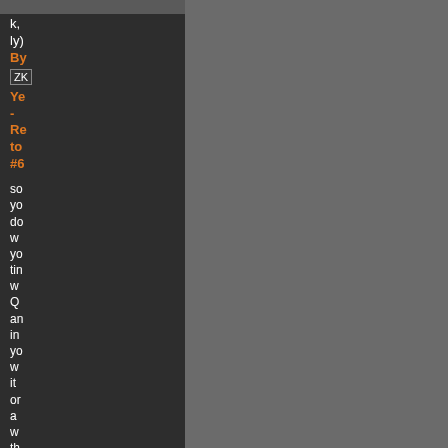k,
ly)
By
ZK
Ye
-
Re
to
#6
so
yo
do
w
yo
tin
w
Q
an
in
yo
w
it
or
a
w
th
is
an
90
sh